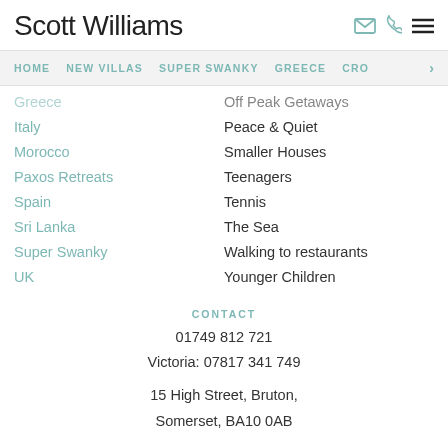Scott Williams
HOME
NEW VILLAS
SUPER SWANKY
GREECE
CRO
Greece
Italy
Morocco
Paxos Retreats
Spain
Sri Lanka
Super Swanky
UK
Off Peak Getaways
Peace & Quiet
Smaller Houses
Teenagers
Tennis
The Sea
Walking to restaurants
Younger Children
CONTACT
01749 812 721
Victoria: 07817 341 749
15 High Street, Bruton,
Somerset, BA10 0AB